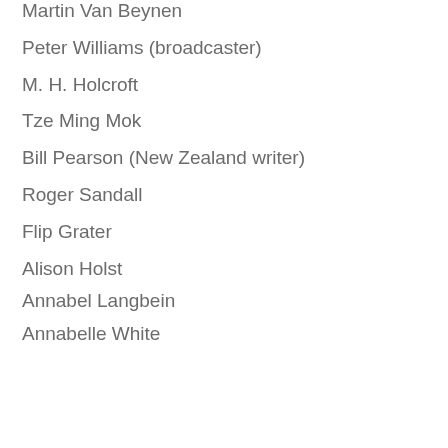Martin Van Beynen
Peter Williams (broadcaster)
M. H. Holcroft
Tze Ming Mok
Bill Pearson (New Zealand writer)
Roger Sandall
Flip Grater
Alison Holst
Annabel Langbein
Annabelle White